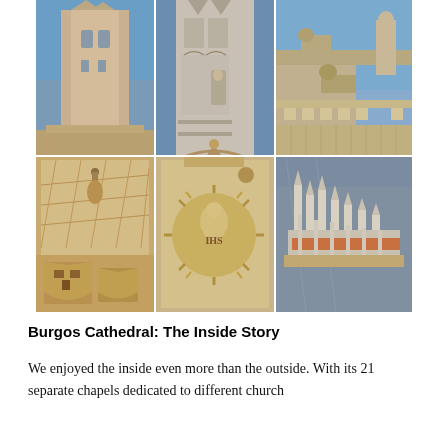[Figure (photo): Grid of 6 photographs of Burgos Cathedral exterior details: Gothic towers, ornate facade, gargoyles and stone statues, latticed stone tracery, carved sun medallion with angel, and a architectural scale model of the cathedral.]
Burgos Cathedral: The Inside Story
We enjoyed the inside even more than the outside. With its 21 separate chapels dedicated to different church